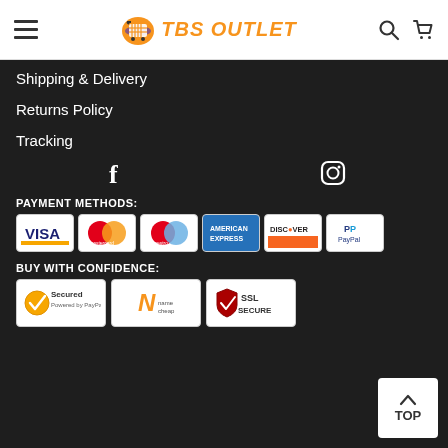TBS Outlet - navigation header with hamburger menu, logo, search and cart icons
Shipping & Delivery
Returns Policy
Tracking
[Figure (other): Social media icons: Facebook (f) and Instagram (circle with camera) on dark background]
PAYMENT METHODS:
[Figure (other): Payment method logos: Visa, Mastercard, Maestro, American Express, Discover, PayPal]
BUY WITH CONFIDENCE:
[Figure (other): Trust badges: Secured (PayPal), Namecheap, SSL Secure]